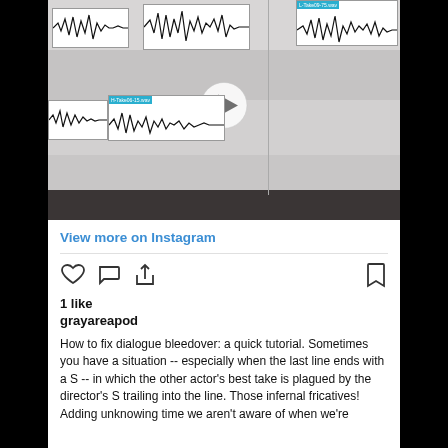[Figure (screenshot): Screenshot of a video editing timeline showing audio waveforms with a play button overlay. Multiple audio clip boxes with waveforms are visible against a light gray background.]
View more on Instagram
1 like
grayareapod
How to fix dialogue bleedover: a quick tutorial. Sometimes you have a situation -- especially when the last line ends with a S -- in which the other actor's best take is plagued by the director's S trailing into the line. Those infernal fricatives! Adding unknowing time we aren't aware of when we're